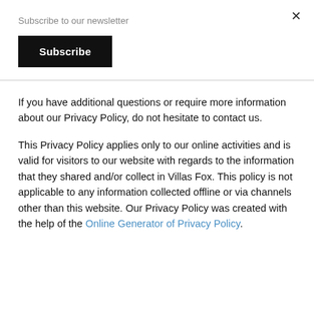Subscribe to our newsletter
Subscribe
If you have additional questions or require more information about our Privacy Policy, do not hesitate to contact us.
This Privacy Policy applies only to our online activities and is valid for visitors to our website with regards to the information that they shared and/or collect in Villas Fox. This policy is not applicable to any information collected offline or via channels other than this website. Our Privacy Policy was created with the help of the Online Generator of Privacy Policy.